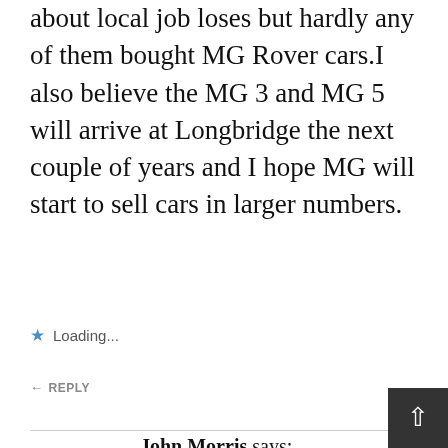about local job loses but hardly any of them bought MG Rover cars.I also believe the MG 3 and MG 5 will arrive at Longbridge the next couple of years and I hope MG will start to sell cars in larger numbers.
Loading...
REPLY
John Morris says:
30 OCTOBER 2011 AT 12.39 PM
I think they should send an invitation all the communist party members of the